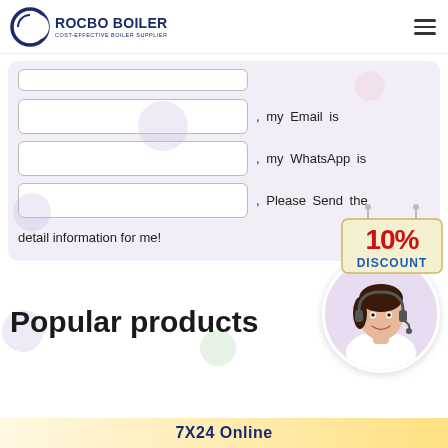[Figure (logo): Rocbo Boiler logo with blue crescent icon and text 'ROCBO BOILER - COST-EFFECTIVE BOILER SUPPLIER']
[Figure (screenshot): Web form with three input fields for Email, WhatsApp, and other info, plus a submit button and 10% discount badge]
Popular products
[Figure (photo): Customer service representative with headset, smiling]
7X24 Online